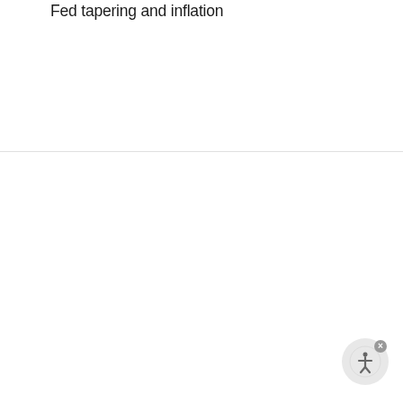Fed tapering and inflation
MUNICIPAL BONDS
High-yield munis: Reassessing a bond market bright spot